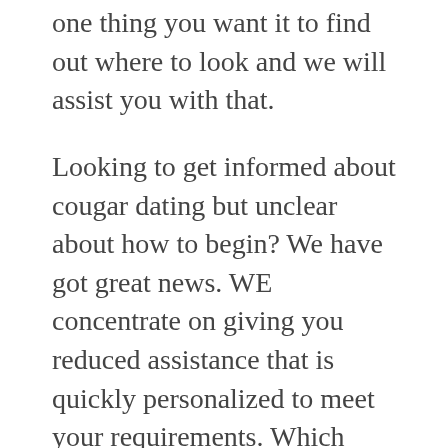one thing you want it to find out where to look and we will assist you with that.
Looking to get informed about cougar dating but unclear about how to begin? We have got great news. WE concentrate on giving you reduced assistance that is quickly personalized to meet your requirements. Which happens to be the reason why you can depend on us to supply the merchandise with regards to older girls dating. Whether you’re a mature female seeking a younger gentleman, or a cub looking for a cougar, we’ll put you on target to get really like.